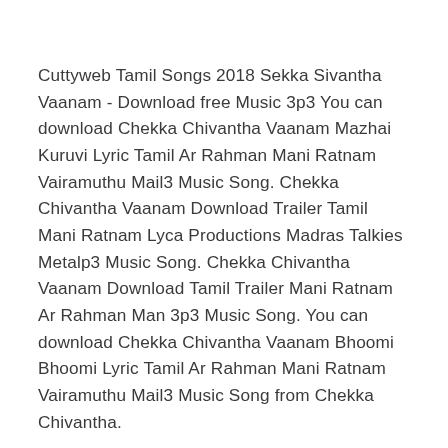Cuttyweb Tamil Songs 2018 Sekka Sivantha Vaanam - Download free Music 3p3 You can download Chekka Chivantha Vaanam Mazhai Kuruvi Lyric Tamil Ar Rahman Mani Ratnam Vairamuthu Mail3 Music Song. Chekka Chivantha Vaanam Download Trailer Tamil Mani Ratnam Lyca Productions Madras Talkies Metalp3 Music Song. Chekka Chivantha Vaanam Download Tamil Trailer Mani Ratnam Ar Rahman Man 3p3 Music Song. You can download Chekka Chivantha Vaanam Bhoomi Bhoomi Lyric Tamil Ar Rahman Mani Ratnam Vairamuthu Mail3 Music Song from Chekka Chivantha.